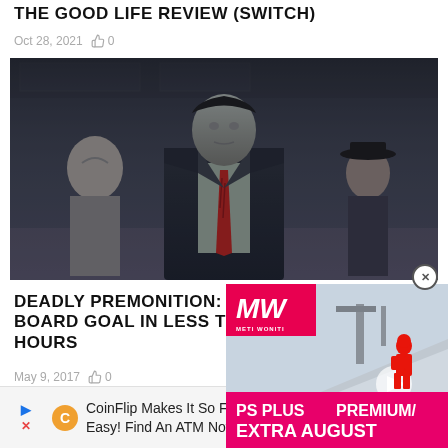THE GOOD LIFE REVIEW (SWITCH)
Oct 28, 2021  👍 0
[Figure (screenshot): Screenshot from a video game showing a character in a dark suit with a red tie standing in an indoor environment. Two other characters visible in the background.]
DEADLY PREMONITION: THE BOARD GOAL IN LESS THAN 24 HOURS
May 9, 2017  👍 0
[Figure (advertisement): PS Plus Premium / Extra August advertisement overlay with MW logo and person in red suit on skate ramp background]
[Figure (advertisement): CoinFlip Makes It So Flippin' Easy! Find An ATM Now. bottom banner advertisement]